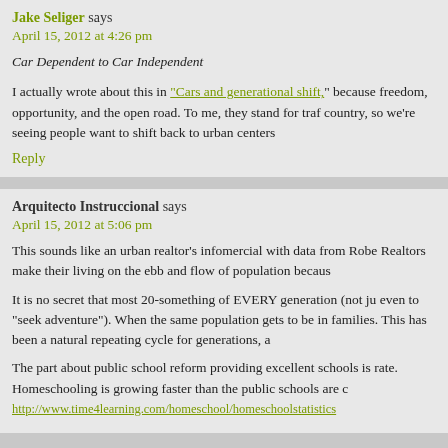Jake Seliger says
April 15, 2012 at 4:26 pm
Car Dependent to Car Independent
I actually wrote about this in "Cars and generational shift," because freedom, opportunity, and the open road. To me, they stand for traf country, so we're seeing people want to shift back to urban centers
Reply
Arquitecto Instruccional says
April 15, 2012 at 5:06 pm
This sounds like an urban realtor's infomercial with data from Robe Realtors make their living on the ebb and flow of population becaus
It is no secret that most 20-something of EVERY generation (not ju even to “seek adventure”). When the same population gets to be in families. This has been a natural repeating cycle for generations, a
The part about public school reform providing excellent schools is rate. Homeschooling is growing faster than the public schools are c http://www.time4learning.com/homeschool/homeschoolstatistics